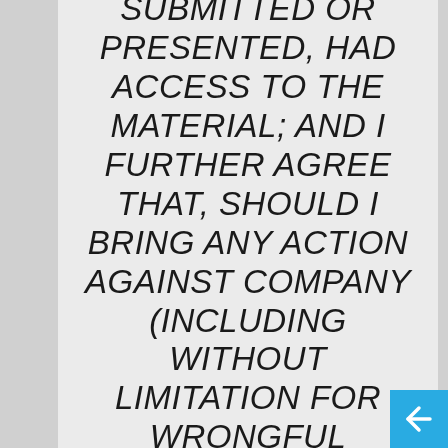SUBMITTED OR PRESENTED, HAD ACCESS TO THE MATERIAL; AND I FURTHER AGREE THAT, SHOULD I BRING ANY ACTION AGAINST COMPANY (INCLUDING WITHOUT LIMITATION FOR WRONGFUL APPROPRIATION OF THE MATERIAL OR ANY PART THEREOF), MY SOLE REMEDY AGAINST COMPANY